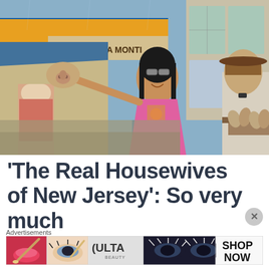[Figure (photo): A woman in a pink floral dress and sunglasses at an outdoor market, holding up a pig's head or animal part, smiling. A man in white shirt stands behind her on the right. Market stalls with signs including 'CARNICERIA MONTI' visible in background. Animal feet/trotters displayed on a table to the right.]
‘The Real Housewives of New Jersey’: So very much
[Figure (photo): Advertisement banner for ULTA Beauty showing close-up glamour makeup images: lips with red lipstick and makeup brush, eye with dramatic makeup, ULTA Beauty logo, dramatic eye makeup, and SHOP NOW text call to action.]